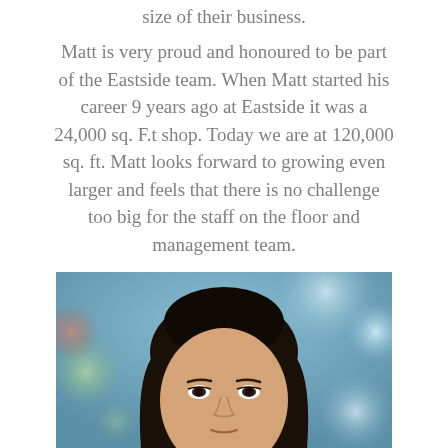size of their business.
Matt is very proud and honoured to be part of the Eastside team. When Matt started his career 9 years ago at Eastside it was a 24,000 sq. F.t shop. Today we are at 120,000 sq. ft. Matt looks forward to growing even larger and feels that there is no challenge too big for the staff on the floor and management team.
[Figure (photo): Portrait photo of a woman with long straight dark hair, Asian appearance, looking at the camera. The background is blurred with blue and green bokeh tones.]